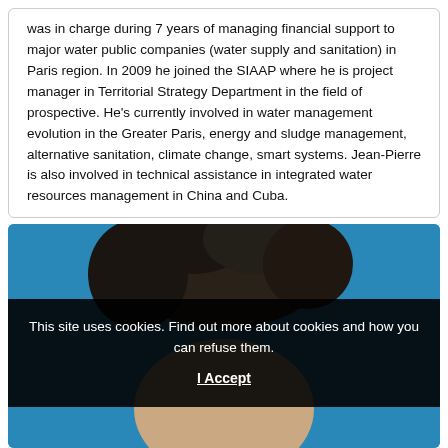was in charge during 7 years of managing financial support to major water public companies (water supply and sanitation) in Paris region. In 2009 he joined the SIAAP where he is project manager in Territorial Strategy Department in the field of prospective. He’s currently involved in water management evolution in the Greater Paris, energy and sludge management, alternative sanitation, climate change, smart systems. Jean-Pierre is also involved in technical assistance in integrated water resources management in China and Cuba.
[Figure (photo): Partial view of a man's head (dark hair) against a blue background, partially obscured by a cookie consent overlay.]
This site uses cookies. Find out more about cookies and how you can refuse them. I Accept